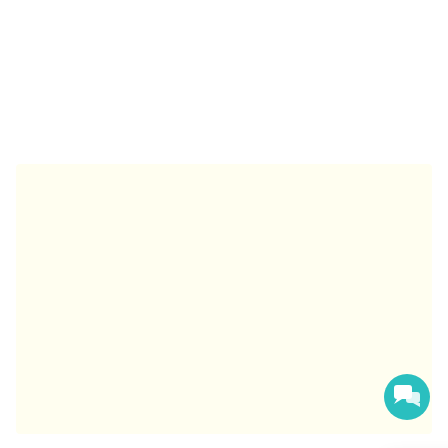[Figure (screenshot): Background area with light cream/yellow color representing a website background]
[Figure (screenshot): Chat popup widget with a logo showing letter L with decorative snowflake border, a close X button, and text reading 'Got any questions about legacy care home? We'd be happy to help!']
Got any questions about legacy care home? We'd be happy to help!
[Figure (illustration): Teal circular chat button with chat bubble icon in bottom-right corner]